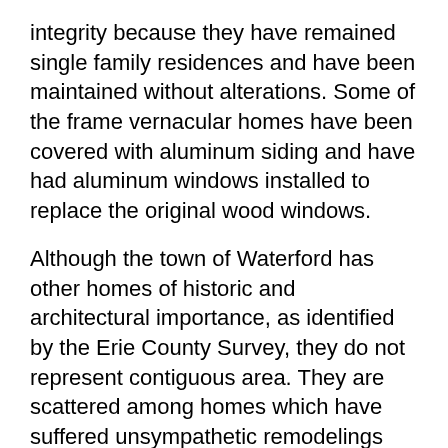integrity because they have remained single family residences and have been maintained without alterations. Some of the frame vernacular homes have been covered with aluminum siding and have had aluminum windows installed to replace the original wood windows.
Although the town of Waterford has other homes of historic and architectural importance, as identified by the Erie County Survey, they do not represent contiguous area. They are scattered among homes which have suffered unsympathetic remodelings and have virtually lost all distinguishing characteristics. The homes that have been selected for inclusion in the district are a sample of the typical styles within the town of Waterford.
Significance
The Waterford Historic District is significant in the